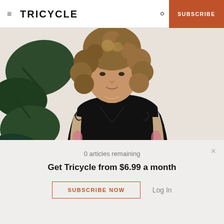TRICYCLE | SUBSCRIBE
[Figure (photo): A woman with curly light-brown hair, wearing a black sleeveless top, seated in front of large tropical houseplants against a white wall. She has tattoo sleeves on both arms.]
0 articles remaining
Get Tricycle from $6.99 a month
SUBSCRIBE NOW
Log In